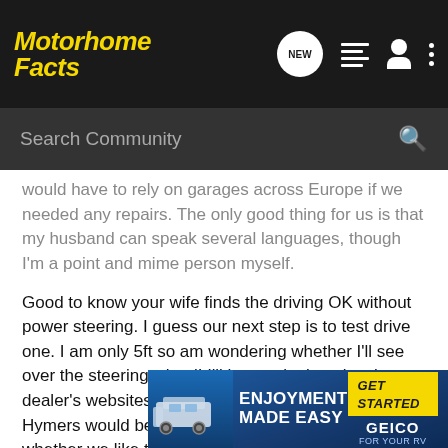Motorhome Facts
would have to rely on garages across Europe if we needed any repairs. The only good thing for us is that my husband can speak several languages, though I'm a point and mime person myself.
Good to know your wife finds the driving OK without power steering. I guess our next step is to test drive one. I am only 5ft so am wondering whether I'll see over the steering wheel! I'll have a look on local dealer's websites as I guess any of the smaller Hymers would be good to test drive and get a feel for whether we like them.
Thanks again
Lesley
[Figure (infographic): GEICO advertisement banner: ENJOYMENT MADE EASY with GET STARTED button and GEICO FOR YOUR RV logo, blue background with motorhome image]